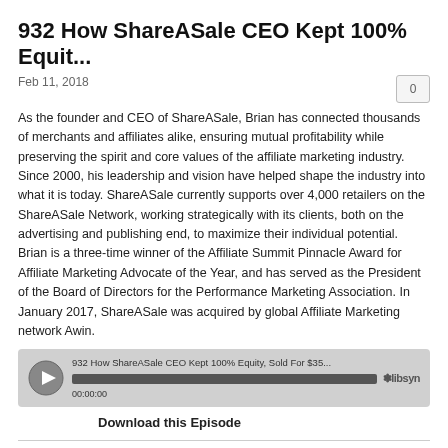932 How ShareASale CEO Kept 100% Equit...
Feb 11, 2018
As the founder and CEO of ShareASale, Brian has connected thousands of merchants and affiliates alike, ensuring mutual profitability while preserving the spirit and core values of the affiliate marketing industry. Since 2000, his leadership and vision have helped shape the industry into what it is today. ShareASale currently supports over 4,000 retailers on the ShareASale Network, working strategically with its clients, both on the advertising and publishing end, to maximize their individual potential. Brian is a three-time winner of the Affiliate Summit Pinnacle Award for Affiliate Marketing Advocate of the Year, and has served as the President of the Board of Directors for the Performance Marketing Association. In January 2017, ShareASale was acquired by global Affiliate Marketing network Awin.
[Figure (other): Audio player widget showing '932 How ShareASale CEO Kept 100% Equity, Sold For $35...' with play button, progress bar at 00:00:00, and Libsyn logo]
Download this Episode
931 Qualtrics "Well Past" $250m in ARR, W...
Feb 10, 2018